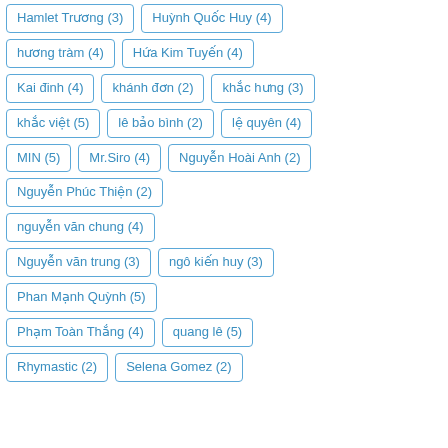Hamlet Trương (3)
Huỳnh Quốc Huy (4)
hương tràm (4)
Hứa Kim Tuyến (4)
Kai đinh (4)
khánh đơn (2)
khắc hưng (3)
khắc việt (5)
lê bảo bình (2)
lệ quyên (4)
MIN (5)
Mr.Siro (4)
Nguyễn Hoài Anh (2)
Nguyễn Phúc Thiện (2)
nguyễn văn chung (4)
Nguyễn văn trung (3)
ngô kiến huy (3)
Phan Mạnh Quỳnh (5)
Phạm Toàn Thắng (4)
quang lê (5)
Rhymastic (2)
Selena Gomez (2)